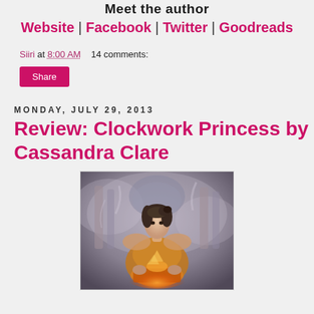Meet the author
Website | Facebook | Twitter | Goodreads
Siiri at 8:00 AM    14 comments:
Share
Monday, July 29, 2013
Review: Clockwork Princess by Cassandra Clare
[Figure (photo): Book cover of Clockwork Princess by Cassandra Clare showing a young woman in Victorian clothing with a glowing book, architectural columns in background]